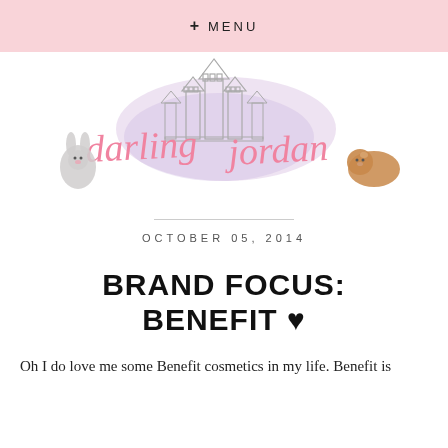+ MENU
[Figure (logo): Darling Jordan blog logo with pink cursive text, a castle illustration in lavender watercolor, a bunny illustration on the left, and a guinea pig illustration on the right]
OCTOBER 05, 2014
BRAND FOCUS: BENEFIT ♥
Oh I do love me some Benefit cosmetics in my life. Benefit is